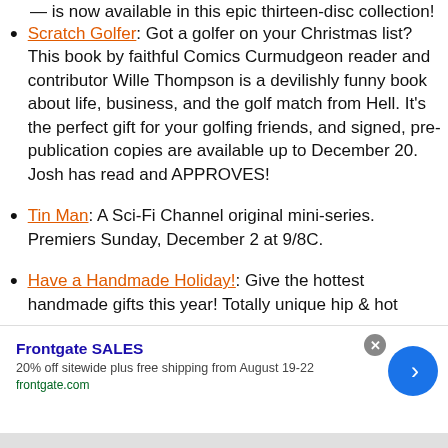— is now available in this epic thirteen-disc collection!
Scratch Golfer: Got a golfer on your Christmas list? This book by faithful Comics Curmudgeon reader and contributor Wille Thompson is a devilishly funny book about life, business, and the golf match from Hell. It's the perfect gift for your golfing friends, and signed, pre-publication copies are available up to December 20. Josh has read and APPROVES!
Tin Man: A Sci-Fi Channel original mini-series. Premiers Sunday, December 2 at 9/8C.
Have a Handmade Holiday!: Give the hottest handmade gifts this year! Totally unique hip & hot
[Figure (screenshot): Advertisement banner for Frontgate SALES: 20% off sitewide plus free shipping from August 19-22. frontgate.com. With close button and forward arrow button.]